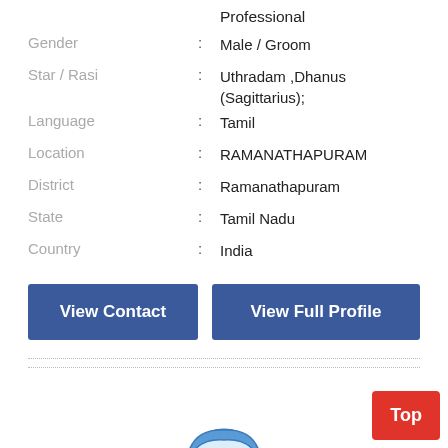Professional
Gender : Male / Groom
Star / Rasi : Uthradam ,Dhanus (Sagittarius);
Language : Tamil
Location : RAMANATHAPURAM
District : Ramanathapuram
State : Tamil Nadu
Country : India
View Contact
View Full Profile
[Figure (illustration): Default male profile avatar illustration in blue outline style with a plus icon]
Top